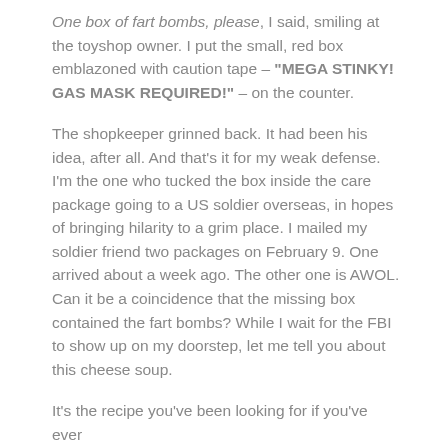One box of fart bombs, please, I said, smiling at the toyshop owner. I put the small, red box emblazoned with caution tape – "MEGA STINKY! GAS MASK REQUIRED!" –  on the counter.
The shopkeeper grinned back. It had been his idea, after all. And that's it for my weak defense. I'm the one who tucked the box inside the care package going to a US soldier overseas, in hopes of bringing hilarity to a grim place. I mailed my soldier friend two packages on February 9. One arrived about a week ago. The other one is AWOL. Can it be a coincidence that the missing box contained the fart bombs? While I wait for the FBI to show up on my doorstep, let me tell you about this cheese soup.
It's the recipe you've been looking for if you've ever